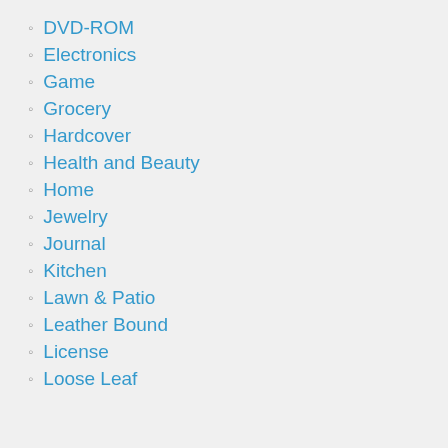DVD-ROM
Electronics
Game
Grocery
Hardcover
Health and Beauty
Home
Jewelry
Journal
Kitchen
Lawn & Patio
Leather Bound
License
Loose Leaf